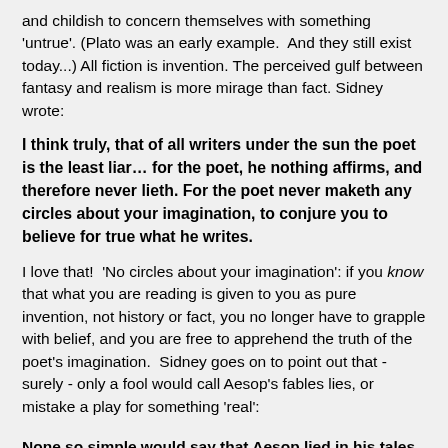and childish to concern themselves with something 'untrue'. (Plato was an early example.  And they still exist today...) All fiction is invention. The perceived gulf between fantasy and realism is more mirage than fact. Sidney wrote:
I think truly, that of all writers under the sun the poet is the least liar… for the poet, he nothing affirms, and therefore never lieth. For the poet never maketh any circles about your imagination, to conjure you to believe for true what he writes.
I love that!  'No circles about your imagination': if you know that what you are reading is given to you as pure invention, not history or fact, you no longer have to grapple with belief, and you are free to apprehend the truth of the poet's imagination.  Sidney goes on to point out that - surely - only a fool would call Aesop's fables lies, or mistake a play for something 'real':
None so simple would say that Aesop lied in his tales of the beasts: for whoso thinks that Aesop writ it for